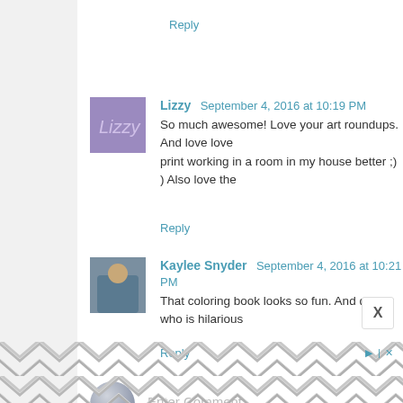Reply
Lizzy  September 4, 2016 at 10:19 PM
So much awesome! Love your art roundups. And love love print working in a room in my house better ;) ) Also love the
Reply
Kaylee Snyder  September 4, 2016 at 10:21 PM
That coloring book looks so fun. And dogtor who is hilarious
Reply
Enter Comment
[Figure (other): Advertisement banner with geometric hexagon/chevron pattern in grey tones, with play and close icons]